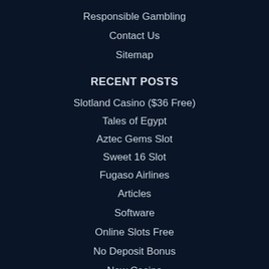Responsible Gambling
Contact Us
Sitemap
RECENT POSTS
Slotland Casino ($36 Free)
Tales of Egypt
Aztec Gems Slot
Sweet 16 Slot
Fugaso Airlines
Articles
Software
Online Slots Free
No Deposit Bonus
New Casino
Casinos by Country
USA Casino reviews